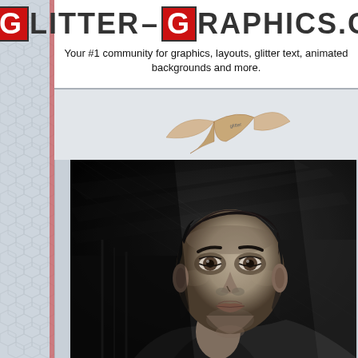GLITTER-GRAPHICS.COM
Your #1 community for graphics, layouts, glitter text, animated backgrounds and more.
[Figure (illustration): A decorative paper airplane or bird shape in beige/tan color, partially visible at the top of the content area.]
[Figure (illustration): A dark, dramatic black and white digital illustration/painting of a male figure (resembling a footballer/celebrity) with intense expression, looking forward, with dramatic lighting rays in the background.]